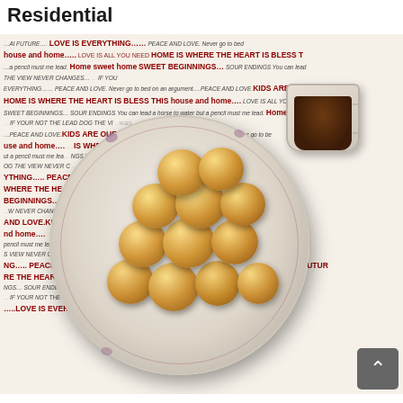Residential
[Figure (photo): A plate of golden-brown fried dough balls (buñuelos or similar fried snacks) on a decorative plate with purple floral rim pattern, with a small white cup/bowl of dark dipping sauce, all placed on a novelty tablecloth printed with red and dark text phrases such as 'KIDS ARE OUR FUTURE', 'LOVE IS EVERYTHING', 'HOME IS WHERE THE HEART IS', 'BLESS THIS house and home', 'Home sweet home', 'SWEET BEGINNINGS', 'SOUR ENDINGS', 'You can lead a horse to water but a pencil must me lead', 'IF YOUR NOT THE LEAD DOG THE VIEW NEVER CHANGES', 'PEACE AND LOVE', 'Never go to bed on an argument', 'YOU ARE MY SOUL MATE'. A grey scroll-to-top button with an up-arrow chevron appears in the lower right corner of the image.]